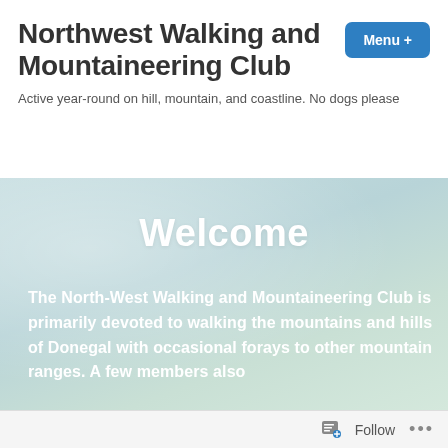Northwest Walking and Mountaineering Club
Active year-round on hill, mountain, and coastline. No dogs please
Welcome
The North-West Walking and Mountaineering Club is primarily devoted to walking the mountains and hills of Donegal with occasional forays to other mountain ranges. A few members also
Follow ...